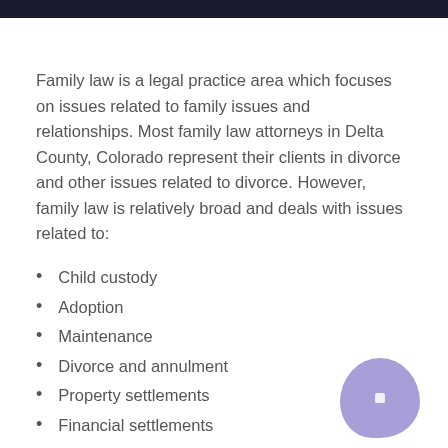Family law is a legal practice area which focuses on issues related to family issues and relationships. Most family law attorneys in Delta County, Colorado represent their clients in divorce and other issues related to divorce. However, family law is relatively broad and deals with issues related to:
Child custody
Adoption
Maintenance
Divorce and annulment
Property settlements
Financial settlements